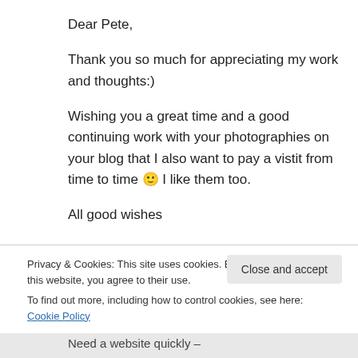Dear Pete,
Thank you so much for appreciating my work and thoughts:)
Wishing you a great time and a good continuing work with your photographies on your blog that I also want to pay a vistit from time to time 🙂 I like them too.
All good wishes
Privacy & Cookies: This site uses cookies. By continuing to use this website, you agree to their use.
To find out more, including how to control cookies, see here: Cookie Policy
Close and accept
Need a website quickly –